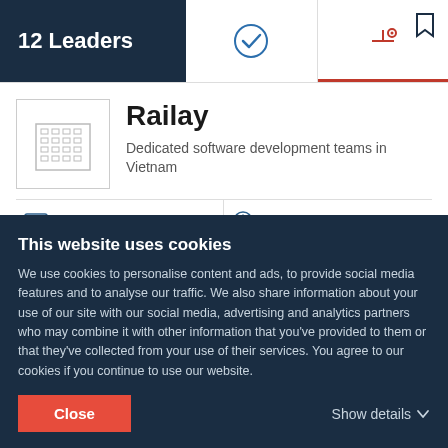12 Leaders
Railay
Dedicated software development teams in Vietnam
$5,000+
< $25 / hr
50 - 249
Saigon, Vietnam
Ability to deliver	21.9
This website uses cookies
We use cookies to personalise content and ads, to provide social media features and to analyse our traffic. We also share information about your use of our site with our social media, advertising and analytics partners who may combine it with other information that you've provided to them or that they've collected from your use of their services. You agree to our cookies if you continue to use our website.
Close
Show details